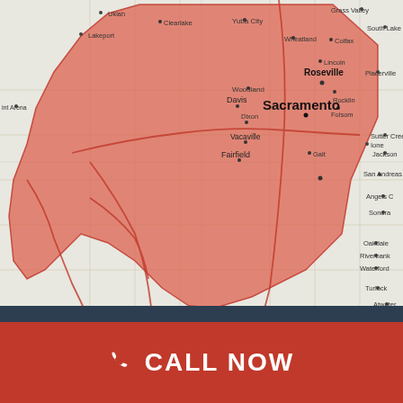[Figure (map): Map of Northern California showing a red highlighted service area covering the San Francisco Bay Area, Sacramento region, and surrounding areas including cities such as San Francisco, Oakland, San Jose, Sacramento, Santa Rosa, Napa, Vallejo, Concord, Berkeley, Hayward, Fremont, Sunnyvale, Santa Clara, Modesto, Stockton, Davis, Roseville, and Santa Cruz. The shaded region is a large irregular polygon in red/orange.]
CALL NOW